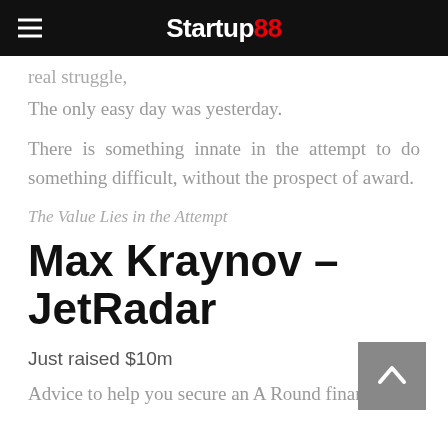Startup88
real struggle,
The only easy day was yesterday.
There is something innate in the attempt to do something difficult, without the prospect of award.
The Value Lies in the Attempt
Max Kraynov – JetRadar
Just raised $10m
Advice to help you secure an A Round financing.